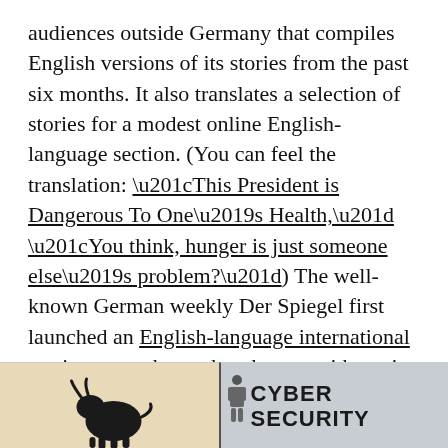audiences outside Germany that compiles English versions of its stories from the past six months. It also translates a selection of stories for a modest online English-language section. (You can feel the translation: “This President is Dangerous To One’s Health,” “You think, hunger is just someone else’s problem?”) The well-known German weekly Der Spiegel first launched an English-language international section more than a decade ago, with a mix of stories from the latest issues of its print magazine and stories appearing only in Spiegel Online (its announced intention was to bring Spiegel’s “unique voice” to English readers).
[Figure (photo): Left image: small dark bull or animal figure on a tan/beige background. Right image: text reading CYBER SECURITY on a gray/blue background with a partial figure visible at the left edge.]